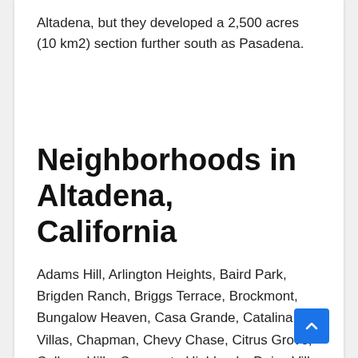Altadena, but they developed a 2,500 acres (10 km2) section further south as Pasadena.
Neighborhoods in Altadena, California
Adams Hill, Arlington Heights, Baird Park, Brigden Ranch, Briggs Terrace, Brockmont, Bungalow Heaven, Casa Grande, Catalina Villas, Chapman, Chevy Chase, Citrus Grove, College Hills, Crescenta Highlands, Daisy-Villa